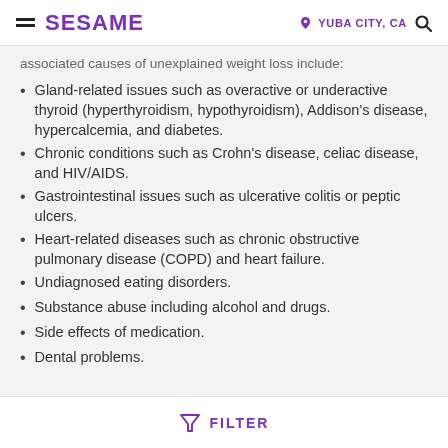SESAME  |  YUBA CITY, CA
associated causes of unexplained weight loss include:
Gland-related issues such as overactive or underactive thyroid (hyperthyroidism, hypothyroidism), Addison's disease, hypercalcemia, and diabetes.
Chronic conditions such as Crohn's disease, celiac disease, and HIV/AIDS.
Gastrointestinal issues such as ulcerative colitis or peptic ulcers.
Heart-related diseases such as chronic obstructive pulmonary disease (COPD) and heart failure.
Undiagnosed eating disorders.
Substance abuse including alcohol and drugs.
Side effects of medication.
Dental problems.
FILTER